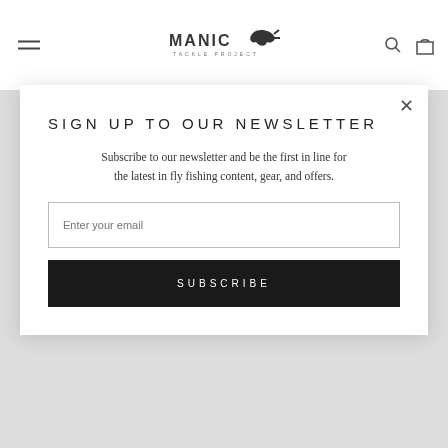MANIC TACKLE PROJECT
[Figure (photo): Backpack with dark grey and orange/red straps in a M shape, shown against a light background]
SIGN UP TO OUR NEWSLETTER
Subscribe to our newsletter and be the first in line for the latest in fly fishing content, gear, and offers.
Enter your email
SUBSCRIBE